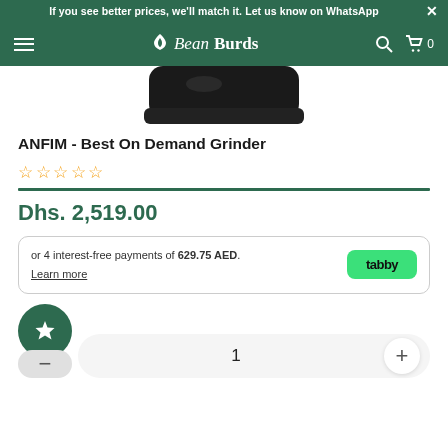If you see better prices, we'll match it. Let us know on WhatsApp
BeanBurds — navigation header with hamburger menu, logo, search and cart icons
[Figure (photo): Partial product image of a black coffee grinder (ANFIM) at the top of the page]
ANFIM - Best On Demand Grinder
★★★★★ (star rating, 5 empty stars)
Dhs. 2,519.00
or 4 interest-free payments of 629.75 AED. Learn more
1